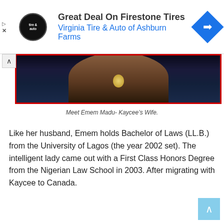[Figure (infographic): Advertisement banner for Virginia Tire & Auto of Ashburn Farms featuring a circular logo, headline 'Great Deal On Firestone Tires', subtitle in blue, and a blue diamond turn arrow icon]
[Figure (photo): Partial photo of Emem Madu (Kaycee's wife) showing her upper body, wearing a necklace, with a dark blue background, framed by a red border]
Meet Emem Madu- Kaycee’s Wife.
Like her husband, Emem holds Bachelor of Laws (LL.B.) from the University of Lagos (the year 2002 set). The intelligent lady came out with a First Class Honors Degree from the Nigerian Law School in 2003. After migrating with Kaycee to Canada.